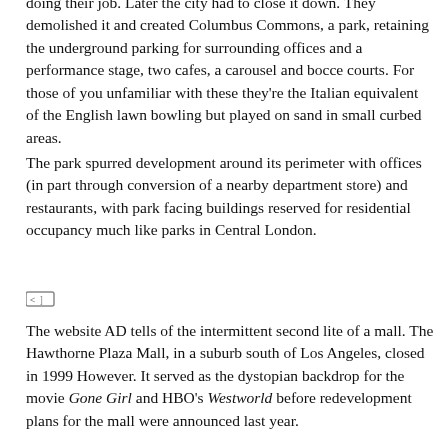doing their job.  Later the city had to close it down.  They demolished it and created Columbus Commons, a park, retaining the underground parking for surrounding offices and a performance stage, two cafes, a carousel and bocce courts.  For those of you unfamiliar with these they're the Italian equivalent of the English lawn bowling but played on sand in small curbed areas.
The park spurred development around its perimeter with offices (in part through conversion of a nearby department store) and restaurants, with park facing buildings reserved for residential occupancy much like parks in Central London.
[Figure (other): Small inline image or icon, approximately 32x20 pixels]
The website AD tells of the intermittent second lite of a mall. The Hawthorne Plaza Mall, in a suburb south of Los Angeles, closed in 1999 However. It served as the dystopian backdrop for the movie Gone Girl and HBO's Westworld before redevelopment plans for the mall were announced last year.